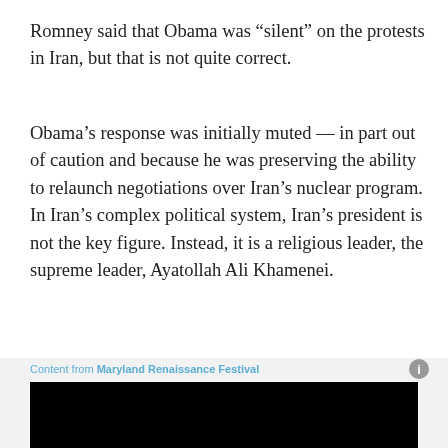Romney said that Obama was “silent” on the protests in Iran, but that is not quite correct.
Obama’s response was initially muted — in part out of caution and because he was preserving the ability to relaunch negotiations over Iran’s nuclear program. In Iran’s complex political system, Iran’s president is not the key figure. Instead, it is a religious leader, the supreme leader, Ayatollah Ali Khamenei.
Content from Maryland Renaissance Festival
[Figure (photo): Black rectangular image area (advertisement placeholder) followed by Washington Nationals baseball advertisement showing tickets starting at $9 with NATITUDE branding and NATIONALS.COM]